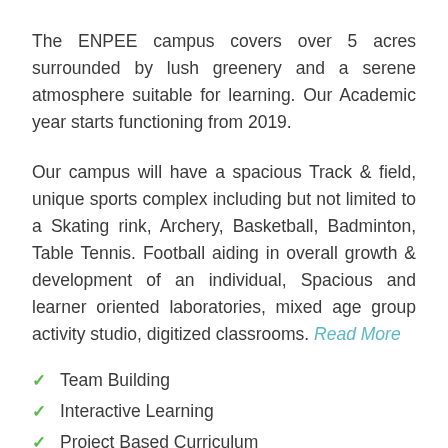The ENPEE campus covers over 5 acres surrounded by lush greenery and a serene atmosphere suitable for learning. Our Academic year starts functioning from 2019.
Our campus will have a spacious Track & field, unique sports complex including but not limited to a Skating rink, Archery, Basketball, Badminton, Table Tennis. Football aiding in overall growth & development of an individual, Spacious and learner oriented laboratories, mixed age group activity studio, digitized classrooms. Read More
Team Building
Interactive Learning
Project Based Curriculum